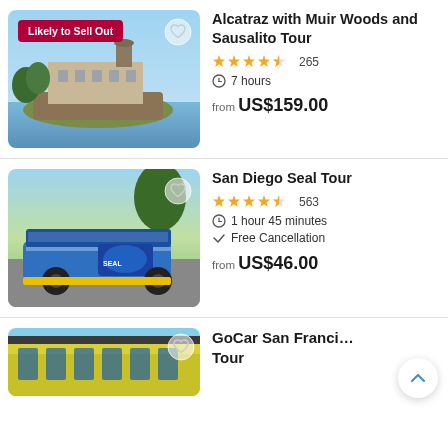[Figure (photo): Alcatraz Island with water and sky, with a red 'Likely to Sell Out' badge and heart icon overlay]
Alcatraz with Muir Woods and Sausalito Tour
★★★★½ 265
7 hours
from US$159.00
[Figure (photo): San Diego SEAL Tour amphibious vehicle, blue with cartoon seal branding, with heart icon overlay]
San Diego Seal Tour
★★★★½ 563
1 hour 45 minutes
Free Cancellation
from US$46.00
[Figure (photo): GoCar San Francisco tour vehicle, yellow/green tram car, partial view]
GoCar San Franci... Tour